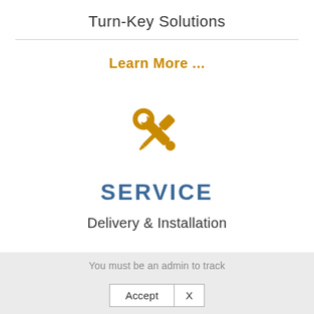Turn-Key Solutions
Learn More ...
[Figure (illustration): Crossed wrench and screwdriver tools icon in orange/amber color]
SERVICE
Delivery & Installation
You must be an admin to track
Accept  X